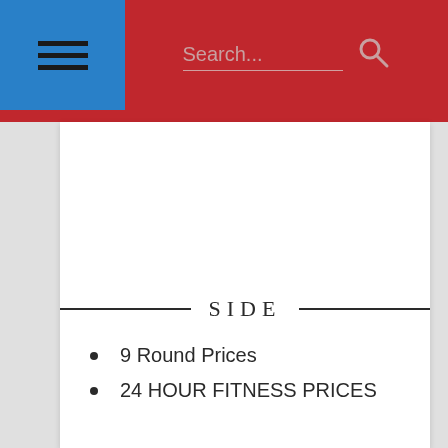SIDE
9 Round Prices
24 HOUR FITNESS PRICES